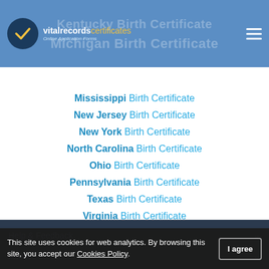vitalrecordscertificates - Online Application Forms
Kentucky Birth Certificate
Michigan Birth Certificate
Mississippi Birth Certificate
New Jersey Birth Certificate
New York Birth Certificate
North Carolina Birth Certificate
Ohio Birth Certificate
Pennsylvania Birth Certificate
Texas Birth Certificate
Virginia Birth Certificate
Help & Feedback
About
This site uses cookies for web analytics. By browsing this site, you accept our Cookies Policy.